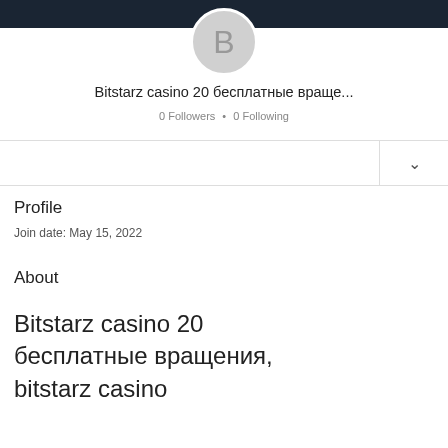[Figure (illustration): User avatar circle with letter B on dark top bar background]
Bitstarz casino 20 бесплатные враще...
0 Followers • 0 Following
Profile
Join date: May 15, 2022
About
Bitstarz casino 20 бесплатные вращения, bitstarz casino